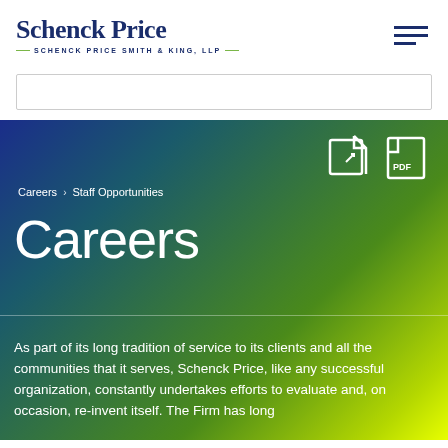Schenck Price — SCHENCK PRICE SMITH & KING, LLP
[Figure (screenshot): Empty search input box with light border]
Careers > Staff Opportunities
Careers
As part of its long tradition of service to its clients and all the communities that it serves, Schenck Price, like any successful organization, constantly undertakes efforts to evaluate and, on occasion, re-invent itself. The Firm has long